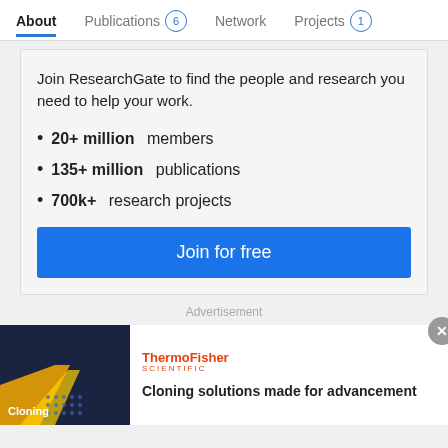About  Publications 6  Network  Projects 1
Join ResearchGate to find the people and research you need to help your work.
20+ million members
135+ million publications
700k+ research projects
Join for free
Advertisement
[Figure (screenshot): ThermoFisher Scientific advertisement with dark blue background image labeled Cloning and ThermoFisher Scientific logo. Headline: Cloning solutions made for advancement]